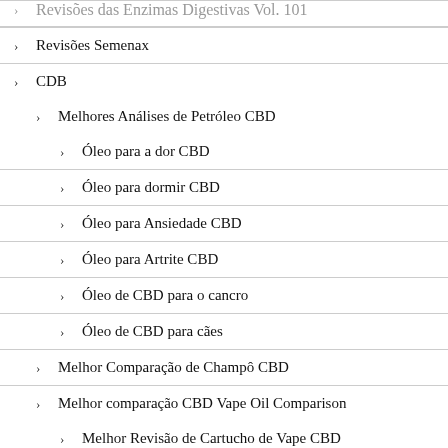Revisões das Enzimas Digestivas Vol. 101
Revisões Semenax
CDB
Melhores Análises de Petróleo CBD
Óleo para a dor CBD
Óleo para dormir CBD
Óleo para Ansiedade CBD
Óleo para Artrite CBD
Óleo de CBD para o cancro
Óleo de CBD para cães
Melhor Comparação de Champô CBD
Melhor comparação CBD Vape Oil Comparison
Melhor Revisão de Cartucho de Vape CBD
As Melhores Revisões dos Bailes Labiais CBD